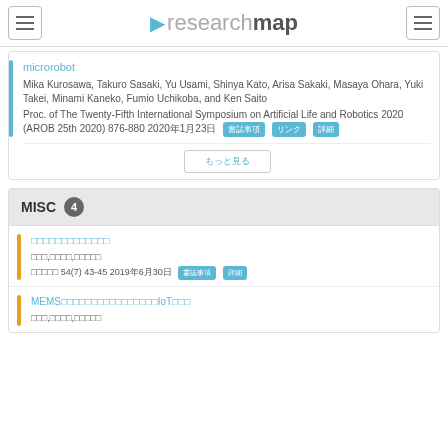researchmap
microrobot
Mika Kurosawa, Takuro Sasaki, Yu Usami, Shinya Kato, Arisa Sakaki, Masaya Ohara, Yuki Takei, Minami Kaneko, Fumio Uchikoba, and Ken Saito
Proc. of The Twenty-Fifth International Symposium on Artificial Life and Robotics 2020 (AROB 25th 2020) 876-880 2020年1月23日
MISC 4
リンク (Japanese text link)
著者名,著者名,著者名
雑誌名 54(7) 43-45 2019年6月30日
MEMSマイクロロボットを用いたIoT応用 (link)
著者名,著者名,著者名